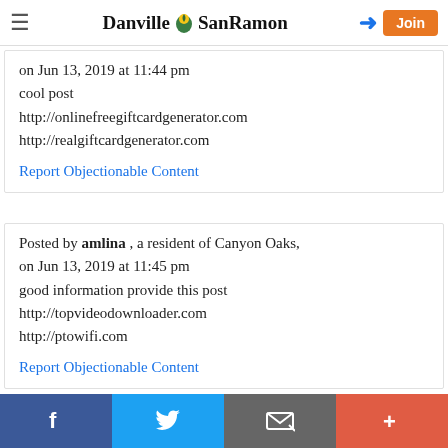Danville SanRamon — header with hamburger menu, login arrow, and Join button
on Jun 13, 2019 at 11:44 pm
cool post
http://onlinefreegiftcardgenerator.com
http://realgiftcardgenerator.com
Report Objectionable Content
Posted by amlina , a resident of Canyon Oaks,
on Jun 13, 2019 at 11:45 pm
good information provide this post
http://topvideodownloader.com
http://ptowifi.com
Report Objectionable Content
Social share bar: Facebook, Twitter, Email, Plus